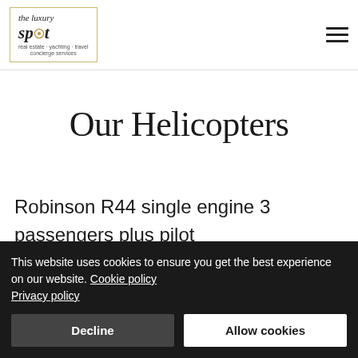the luxury spot — real estate · yachting · travel concierge services
Our Helicopters
Robinson R44 single engine 3 passengers plus pilot
This website uses cookies to ensure you get the best experience on our website. Cookie policy Privacy policy
Decline | Allow cookies